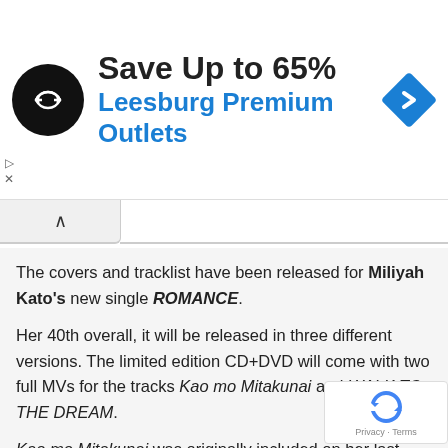[Figure (other): Advertisement banner: black circular logo with double arrow symbol, text 'Save Up to 65% Leesburg Premium Outlets' in black and blue, blue diamond navigation icon on right]
The covers and tracklist have been released for Miliyah Kato's new single ROMANCE.
Her 40th overall, it will be released in three different versions. The limited edition CD+DVD will come with two full MVs for the tracks Kao mo Mitakunai and WALK TO THE DREAM.
Kao mo Mitakunai was originally included on her last release, the mini-album I HATE YOU, while WALK TO THE DREAM is a b-side on ROMANCE.
A limited edition CD only will also be released